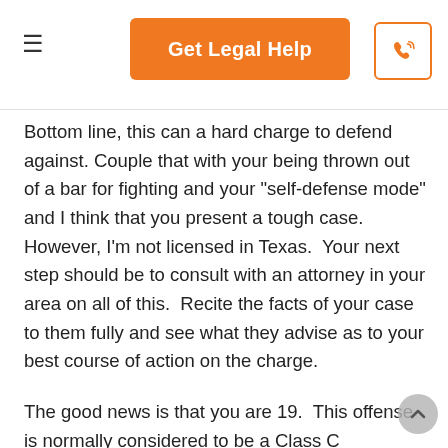Get Legal Help
Bottom line, this can a hard charge to defend against. Couple that with your being thrown out of a bar for fighting and your "self-defense mode" and I think that you present a tough case.  However, I'm not licensed in Texas.  Your next step should be to consult with an attorney in your area on all of this.  Recite the facts of your case to them fully and see what they advise as to your best course of action on the charge.
The good news is that you are 19.  This offense is normally considered to be a Class C misdemeanor but for a minor the punishment terms are the same manner as if you committed the offense of Possession of Alcohol by a Minor.  The maximum penalty for an MIP is usually